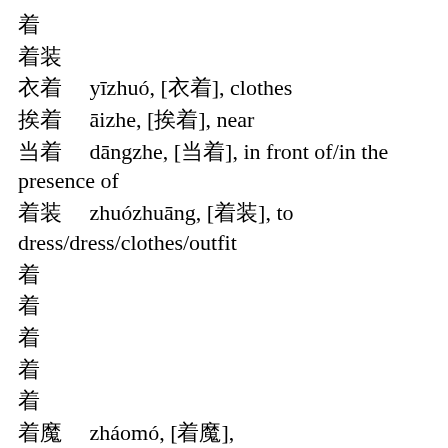着
着装
衣着    yīzhuó, [衣着], clothes
挨着    āizhe, [挨着], near
当着    dāngzhe, [当着], in front of/in the presence of
着装    zhuózhuāng, [着装], to dress/dress/clothes/outfit
着
着
着
着
着
着魔    zháomó, [着魔], obsessed/bewitched/enchanted/as if possessed
着
着眼    zhuóyǎn, [着眼], to have one's eyes on (a